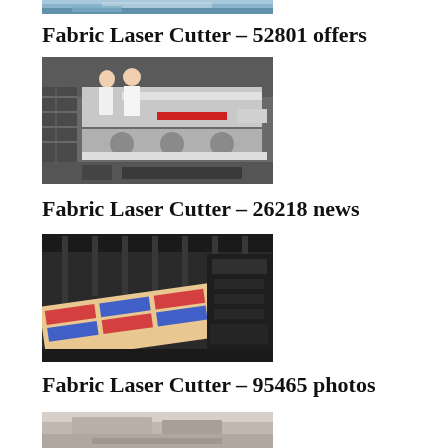[Figure (photo): Partial view of industrial machinery, cropped at top of page]
Fabric Laser Cutter – 52801 offers
[Figure (photo): Two people in white lab coats standing next to a large industrial fabric laser cutting machine in a factory setting]
Fabric Laser Cutter – 26218 news
[Figure (photo): Industrial printing or fabric cutting machine with colorful printed sheets passing through machinery in a factory]
Fabric Laser Cutter – 95465 photos
[Figure (photo): Partial view of another industrial fabric or laser cutting machine, cropped at bottom of page]